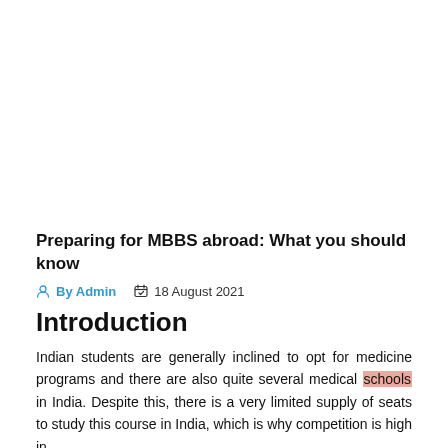Preparing for MBBS abroad: What you should know
By Admin   18 August 2021
Introduction
Indian students are generally inclined to opt for medicine programs and there are also quite several medical schools in India. Despite this, there is a very limited supply of seats to study this course in India, which is why competition is high in